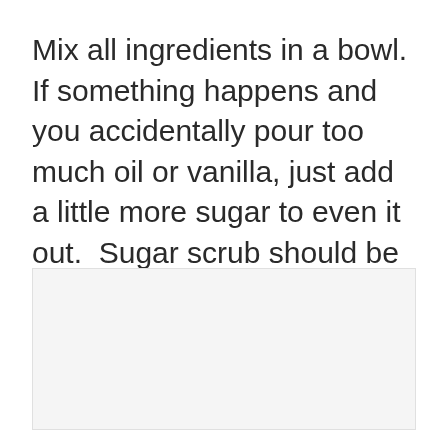Mix all ingredients in a bowl.  If something happens and you accidentally pour too much oil or vanilla, just add a little more sugar to even it out.  Sugar scrub should be thick and grainy, not runny.
[Figure (other): Light gray rectangular image placeholder area below the text]